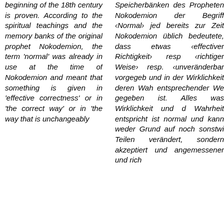beginning of the 18th century is proven. According to the spiritual teachings and the memory banks of the original prophet Nokodemion, the term 'normal' was already in use at the time of Nokodemion and meant that something is given in 'effective correctness' or in 'the correct way' or in 'the way that is unchangeably
Speicherbänken des Propheten Nokodemion der Begriff ‹Normal› jed bereits zur Zeit Nokodemion üblich bedeutete, dass etwas ‹effectiver Richtigkeit› resp ‹richtiger Weise› resp. ‹unveränderbar vorgegeb und in der Wirklichkeit deren Wah entsprechender We gegeben ist. Alles was Wirklichkeit und d Wahrheit entspricht ist normal und kann weder Grund auf noch sonstwi Teilen verändert, sondern akzeptiert und angemessener und rich